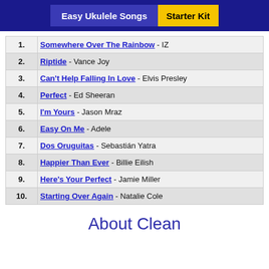Easy Ukulele Songs | Starter Kit
1. Somewhere Over The Rainbow - IZ
2. Riptide - Vance Joy
3. Can't Help Falling In Love - Elvis Presley
4. Perfect - Ed Sheeran
5. I'm Yours - Jason Mraz
6. Easy On Me - Adele
7. Dos Oruguitas - Sebastián Yatra
8. Happier Than Ever - Billie Eilish
9. Here's Your Perfect - Jamie Miller
10. Starting Over Again - Natalie Cole
About Clean